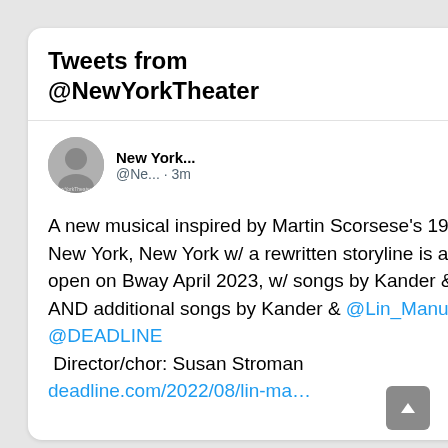Tweets from @NewYorkTheater
A new musical inspired by Martin Scorsese's 1977 film New York, New York w/ a rewritten storyline is aiming to open on Bway April 2023, w/ songs by Kander & Ebb AND additional songs by Kander & @Lin_Manuel, says @DEADLINE
 Director/chor: Susan Stroman
deadline.com/2022/08/lin-ma…